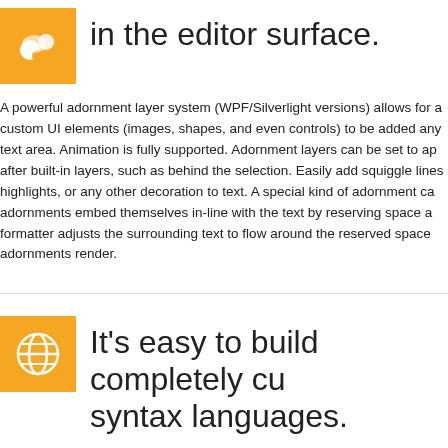[Figure (logo): Orange square icon with decorative swirl/circles pattern in white]
in the editor surface.
A powerful adornment layer system (WPF/Silverlight versions) allows for custom UI elements (images, shapes, and even controls) to be added any text area. Animation is fully supported. Adornment layers can be set to ap after built-in layers, such as behind the selection. Easily add squiggle lines highlights, or any other decoration to text. A special kind of adornment ca adornments embed themselves in-line with the text by reserving space a formatter adjusts the surrounding text to flow around the reserved space adornments render.
[Figure (logo): Orange square icon with globe/world map in white]
It's easy to build completely cu syntax languages.
Extensibility is the name of the game when talking about SyntaxEditor's do